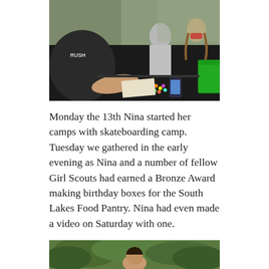[Figure (photo): Young people sitting at a black table working with colorful small objects/beads; person in foreground wearing a black RUSH band t-shirt; green bin visible at right; appears to be an event or fair setting.]
Monday the 13th Nina started her camps with skateboarding camp. Tuesday we gathered in the early evening as Nina and a number of fellow Girl Scouts had earned a Bronze Award making birthday boxes for the South Lakes Food Pantry. Nina had even made a video on Saturday with one.
[Figure (photo): Partial view of a person outdoors with green foliage in background.]